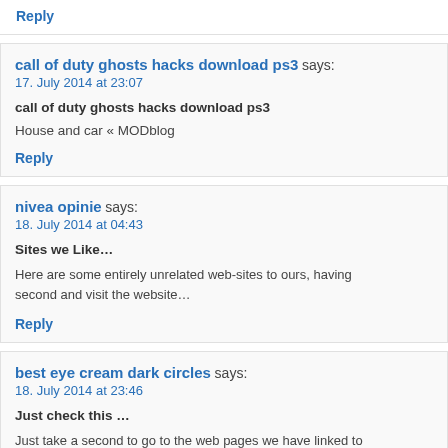Reply
call of duty ghosts hacks download ps3 says:
17. July 2014 at 23:07
call of duty ghosts hacks download ps3
House and car « MODblog
Reply
nivea opinie says:
18. July 2014 at 04:43
Sites we Like…
Here are some entirely unrelated web-sites to ours, having second and visit the website…
Reply
best eye cream dark circles says:
18. July 2014 at 23:46
Just check this …
Just take a second to go to the web pages we have linked to
Reply